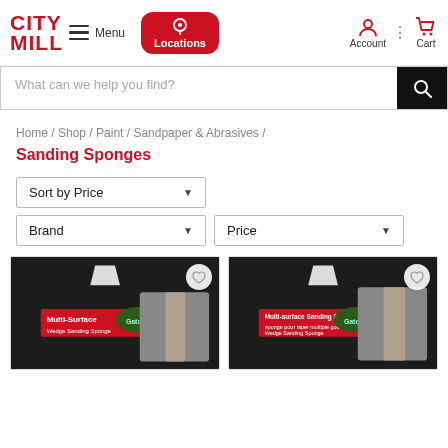[Figure (logo): City Mill red logo with hamburger menu icon and Menu label]
[Figure (screenshot): Locations button (red rounded rectangle with pin icon)]
[Figure (screenshot): Account and Cart header icons]
What can we help you find?
Home / Shop / Paint / Sandpaper & Abrasives / Sanding Sponges
Sort by Price
Brand
Price
[Figure (photo): Two Gator Multi-Surface Wedge Sanding Sponge product cards with wishlist heart icons]